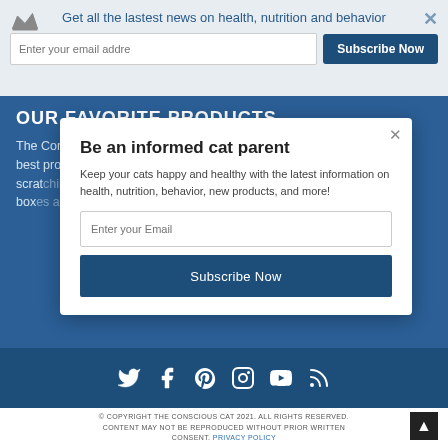Get all the lastest news on health, nutrition and behavior
[Figure (screenshot): Email input field with placeholder 'Enter your email addre']
Subscribe Now
OUR FAVORITE PRODUCTS
The Conscious Cat Product Guide features all of the best products for cats and cat lovers. From furniture scrat... box...
POWERED BY SUMO
Be an informed cat parent
Keep your cats happy and healthy with the latest information on health, nutrition, behavior, new products, and more!
[Figure (screenshot): Email input field with placeholder 'Enter your Email']
Subscribe Now
[Figure (infographic): Social media icons: Twitter, Facebook, Pinterest, Instagram, YouTube, RSS]
© COPYRIGHT THE CONSCIOUS CAT 2021. ALL RIGHTS RESERVED. CONTENT MAY NOT BE REPRODUCED WITHOUT PRIOR WRITTEN CONSENT. PRIVACY POLICY